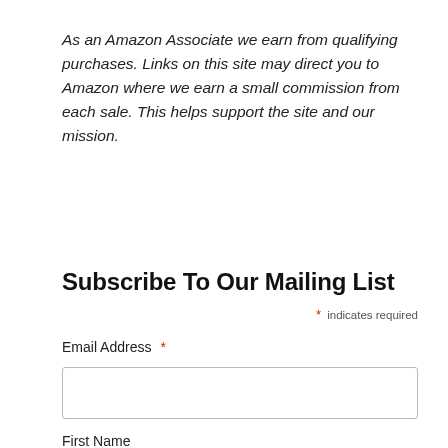As an Amazon Associate we earn from qualifying purchases. Links on this site may direct you to Amazon where we earn a small commission from each sale. This helps support the site and our mission.
Subscribe To Our Mailing List
* indicates required
Email Address *
First Name